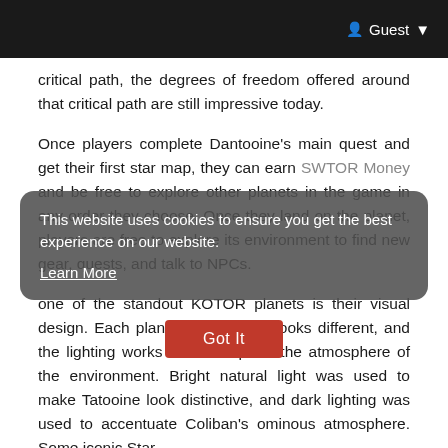Guest
critical path, the degrees of freedom offered around that critical path are still impressive today.
Once players complete Dantooine's main quest and get their first star map, they can earn SWTOR Money and be free to explore other planets in the game in any order they choose. Once they land on the planet, players are free to explore its environment to find new gear, quests, and talk to NPCs.
This website uses cookies to ensure you get the best experience on our website. Learn More
one of the standout KOTOR planets is their visual design. Each planet in the game looks different, and the lighting works well to capture the atmosphere of the environment. Bright natural light was used to make Tatooine look distinctive, and dark lighting was used to accentuate Coliban's ominous atmosphere. Some iconic Star